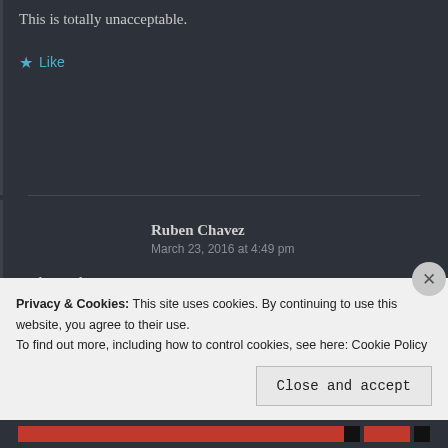This is totally unacceptable.
Like
Ruben Chavez
March 23, 2016 at 4:49 pm
Ruben Chavez.
Save the bruins!
Like
Privacy & Cookies: This site uses cookies. By continuing to use this website, you agree to their use.
To find out more, including how to control cookies, see here: Cookie Policy
Close and accept